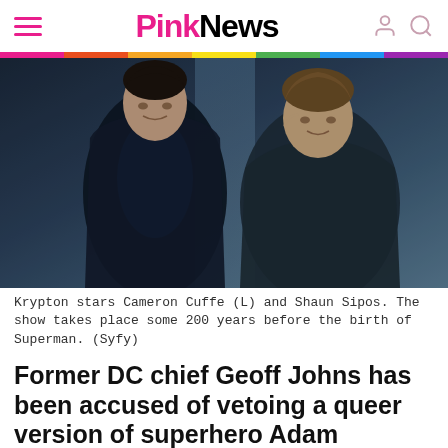PinkNews
[Figure (photo): Two men facing each other in a dramatic scene. Left figure wears a black leather jacket over a blue turtleneck with dark hair. Right figure wears a dark jacket with lighter brown hair. The background is a blue-grey icy environment. Krypton TV show promotional still.]
Krypton stars Cameron Cuffe (L) and Shaun Sipos. The show takes place some 200 years before the birth of Superman. (Syfy)
Former DC chief Geoff Johns has been accused of vetoing a queer version of superhero Adam Strange